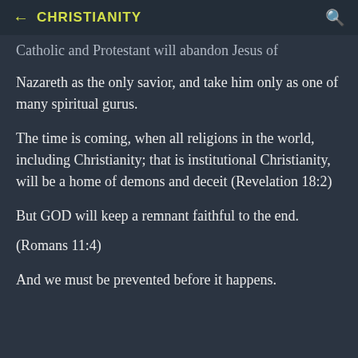← CHRISTIANITY 🔍
Catholic and Protestant will abandon Jesus of Nazareth as the only savior, and take him only as one of many spiritual gurus.
The time is coming, when all religions in the world, including Christianity; that is institutional Christianity, will be a home of demons and deceit (Revelation 18:2)
But GOD will keep a remnant faithful to the end.
(Romans 11:4)
And we must be prevented before it happens.